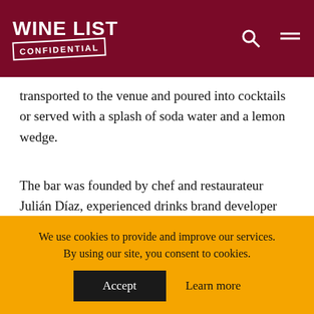WINE LIST CONFIDENTIAL
transported to the venue and poured into cocktails or served with a splash of soda water and a lemon wedge.
The bar was founded by chef and restaurateur Julián Díaz, experienced drinks brand developer Agustín Camps, winemaker Sebastián Zuccardi, and journalist and entrepreneur Martín Auzmendi.
We use cookies to provide and improve our services. By using our site, you consent to cookies. Accept   Learn more